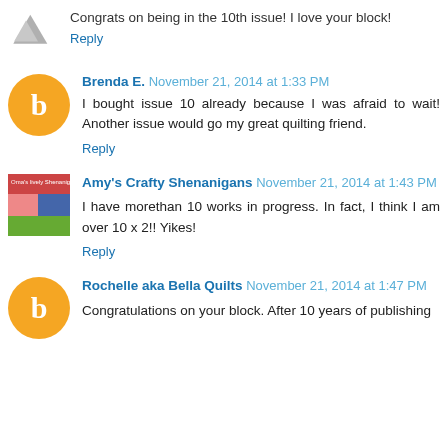Congrats on being in the 10th issue! I love your block!
Reply
Brenda E. November 21, 2014 at 1:33 PM
I bought issue 10 already because I was afraid to wait! Another issue would go my great quilting friend.
Reply
Amy's Crafty Shenanigans November 21, 2014 at 1:43 PM
I have morethan 10 works in progress. In fact, I think I am over 10 x 2!! Yikes!
Reply
Rochelle aka Bella Quilts November 21, 2014 at 1:47 PM
Congratulations on your block. After 10 years of publishing